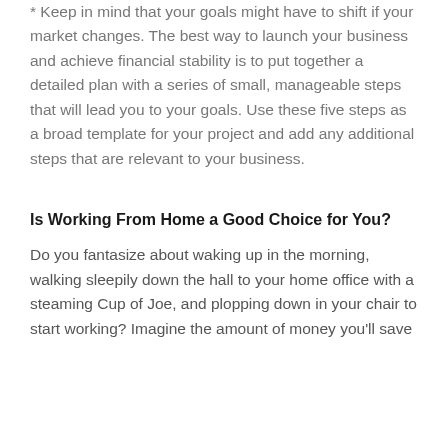* Keep in mind that your goals might have to shift if your market changes. The best way to launch your business and achieve financial stability is to put together a detailed plan with a series of small, manageable steps that will lead you to your goals. Use these five steps as a broad template for your project and add any additional steps that are relevant to your business.
Is Working From Home a Good Choice for You?
Do you fantasize about waking up in the morning, walking sleepily down the hall to your home office with a steaming Cup of Joe, and plopping down in your chair to start working? Imagine the amount of money you'll save